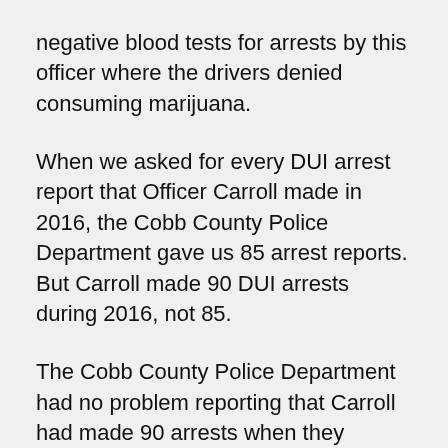negative blood tests for arrests by this officer where the drivers denied consuming marijuana.
When we asked for every DUI arrest report that Officer Carroll made in 2016, the Cobb County Police Department gave us 85 arrest reports. But Carroll made 90 DUI arrests during 2016, not 85.
The Cobb County Police Department had no problem reporting that Carroll had made 90 arrests when they reported his record to Mothers Against Drunk Driving — for which he received a Silver Medal last year.